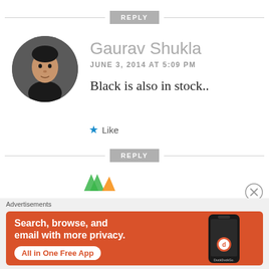REPLY
Gaurav Shukla
JUNE 3, 2014 AT 5:09 PM
[Figure (photo): Circular avatar photo of Gaurav Shukla, a man in a dark shirt]
Black is also in stock..
★ Like
REPLY
Advertisements
[Figure (infographic): DuckDuckGo advertisement banner on orange background: 'Search, browse, and email with more privacy. All in One Free App' with DuckDuckGo logo and phone graphic]